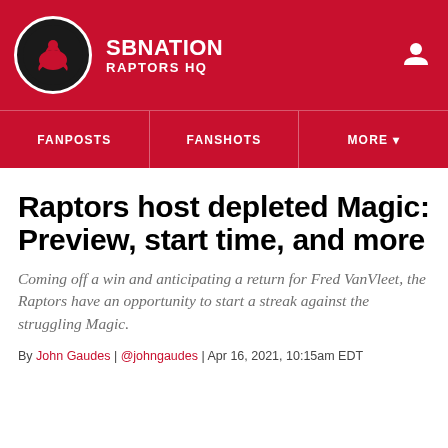SBNation | Raptors HQ
FANPOSTS | FANSHOTS | MORE
Raptors host depleted Magic: Preview, start time, and more
Coming off a win and anticipating a return for Fred VanVleet, the Raptors have an opportunity to start a streak against the struggling Magic.
By John Gaudes | @johngaudes | Apr 16, 2021, 10:15am EDT